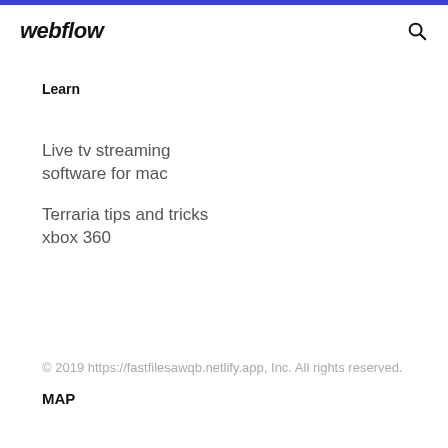webflow
Learn
Live tv streaming software for mac
Terraria tips and tricks xbox 360
© 2019 https://fastfilesawqb.netlify.app, Inc. All rights reserved.
MAP